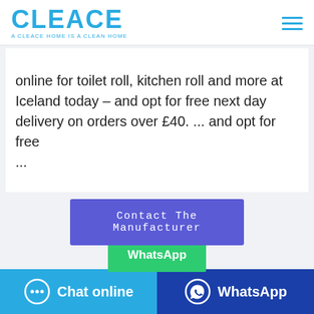CLEACE — A CLEACE HOME IS A CLEAN HOME
online for toilet roll, kitchen roll and more at Iceland today – and opt for free next day delivery on orders over £40. ... and opt for free ...
[Figure (other): Blue 'Contact The Manufacturer' button and green 'WhatsApp' button overlapping below]
[Figure (photo): Partial product image strip at bottom of content area]
Chat online | WhatsApp